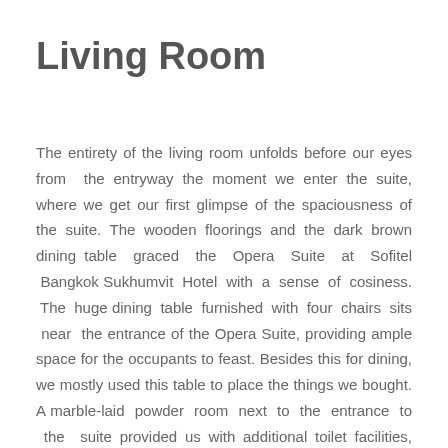Living Room
The entirety of the living room unfolds before our eyes from the entryway the moment we enter the suite, where we get our first glimpse of the spaciousness of the suite. The wooden floorings and the dark brown dining table graced the Opera Suite at Sofitel Bangkok Sukhumvit Hotel with a sense of cosiness. The huge dining table furnished with four chairs sits near the entrance of the Opera Suite, providing ample space for the occupants to feast. Besides this for dining, we mostly used this table to place the things we bought. A marble-laid powder room next to the entrance to the suite provided us with additional toilet facilities, which also